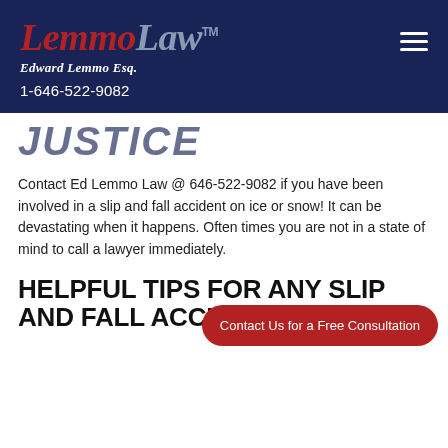Lemmo Law™ Edward Lemmo Esq. 1-646-522-9082
JUSTICE
Contact Ed Lemmo Law @ 646-522-9082 if you have been involved in a slip and fall accident on ice or snow! It can be devastating when it happens. Often times you are not in a state of mind to call a lawyer immediately.
HELPFUL TIPS FOR ANY SLIP AND FALL ACCIDENT ON ICE
Contact Us for a Free Consultation